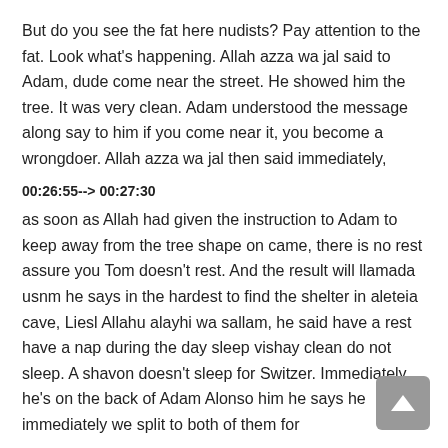But do you see the fat here nudists? Pay attention to the fat. Look what's happening. Allah azza wa jal said to Adam, dude come near the street. He showed him the tree. It was very clean. Adam understood the message along say to him if you come near it, you become a wrongdoer. Allah azza wa jal then said immediately,
00:26:55--> 00:27:30
as soon as Allah had given the instruction to Adam to keep away from the tree shape on came, there is no rest assure you Tom doesn't rest. And the result will llamada usnm he says in the hardest to find the shelter in aleteia cave, Liesl Allahu alayhi wa sallam, he said have a rest have a nap during the day sleep vishay clean do not sleep. A shavon doesn't sleep for Switzer. Immediately he's on the back of Adam Alonso him he says he immediately we split to both of them for